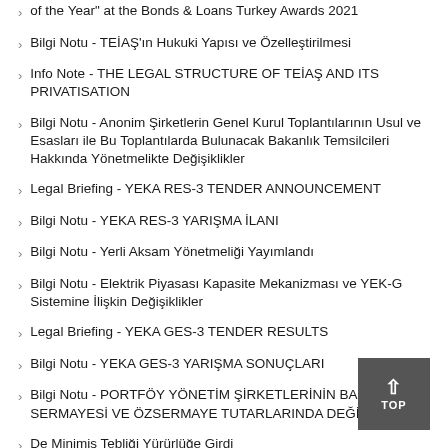of the Year" at the Bonds & Loans Turkey Awards 2021
Bilgi Notu - TEİAŞ'ın Hukuki Yapısı ve Özelleştirilmesi
Info Note - THE LEGAL STRUCTURE OF TEİAŞ AND ITS PRIVATISATION
Bilgi Notu - Anonim Şirketlerin Genel Kurul Toplantılarının Usul ve Esasları ile Bu Toplantılarda Bulunacak Bakanlık Temsilcileri Hakkında Yönetmelikte Değişiklikler
Legal Briefing - YEKA RES-3 TENDER ANNOUNCEMENT
Bilgi Notu - YEKA RES-3 YARIŞMA İLANI
Bilgi Notu - Yerli Aksam Yönetmeliği Yayımlandı
Bilgi Notu - Elektrik Piyasası Kapasite Mekanizması ve YEK-G Sistemine İlişkin Değişiklikler
Legal Briefing - YEKA GES-3 TENDER RESULTS
Bilgi Notu - YEKA GES-3 YARIŞMA SONUÇLARI
Bilgi Notu - PORTFÖY YÖNETİM ŞİRKETLERİNİN BAŞLANGIÇ SERMAYESİ VE ÖZSERMAYE TUTARLARINDA DEĞİŞİKLİK
De Minimis Tebliği Yürürlüğe Girdi
Legal Briefing - YEKA GES-3 TENDERS